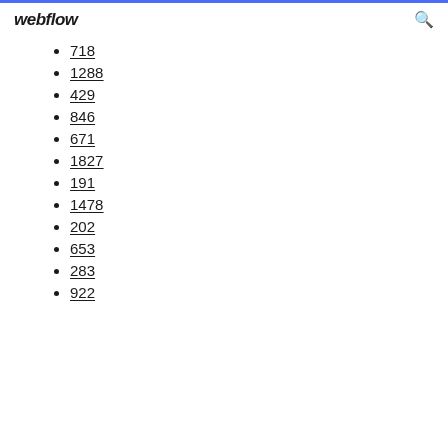webflow
718
1288
429
846
671
1827
191
1478
202
653
283
922